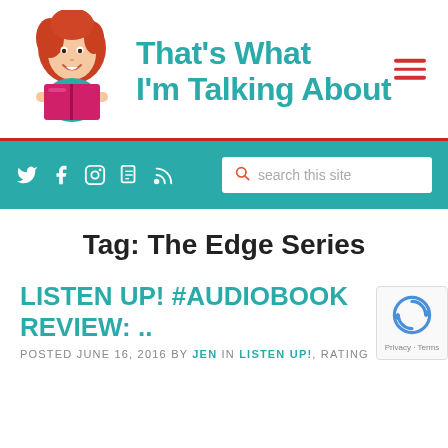[Figure (logo): Blog logo with cartoon woman with red hair reading a pink book, next to site title 'That's What I'm Talking About' in teal bold font]
[Figure (infographic): Hamburger menu icon with three red horizontal lines]
[Figure (infographic): Teal navigation bar with social media icons (Twitter, Facebook, Instagram, document, RSS) and a search box with orange magnifying glass icon and placeholder text 'search this site']
Tag: The Edge Series
LISTEN UP! #AUDIOBOOK REVIEW: ..
POSTED JUNE 16, 2016 BY JEN IN LISTEN UP!, RATING